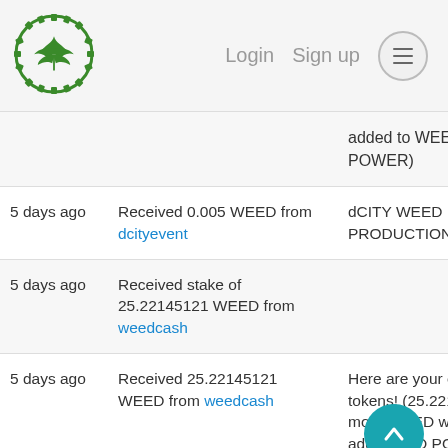[Figure (logo): Cannabis leaf logo inside a gear/cog circle, green color]
Login  Sign up  ≡
| Time | Description | Memo |
| --- | --- | --- |
|  | added to WEED POWER) |  |
| 5 days ago | Received 0.005 WEED from dcityevent | dCITY WEED PRODUCTION |
| 5 days ago | Received stake of 25.22145121 WEED from weedcash |  |
| 5 days ago | Received 25.22145121 WEED from weedcash | Here are your clai tokens! (25.22145 more WEED were added EED POWER) |
| 5 days | Received 0.00332969... | here is your daily... |